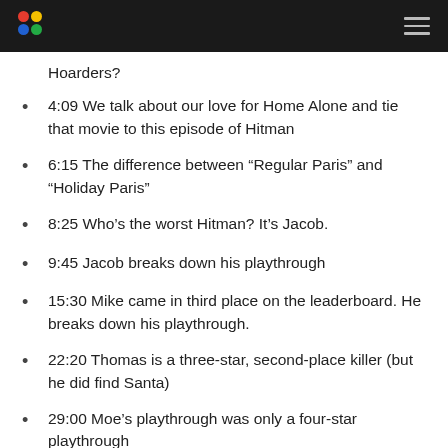Hoarders?
4:09 We talk about our love for Home Alone and tie that movie to this episode of Hitman
6:15 The difference between “Regular Paris” and “Holiday Paris”
8:25 Who’s the worst Hitman? It’s Jacob.
9:45 Jacob breaks down his playthrough
15:30 Mike came in third place on the leaderboard. He breaks down his playthrough.
22:20 Thomas is a three-star, second-place killer (but he did find Santa)
29:00 Moe’s playthrough was only a four-star playthrough